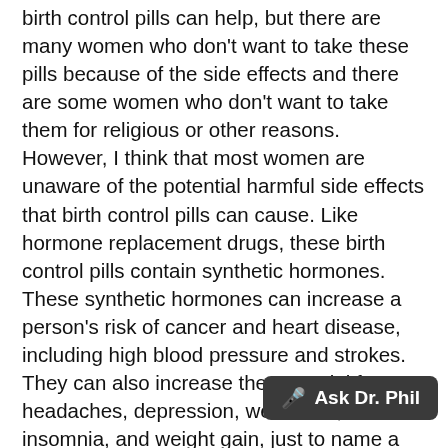birth control pills can help, but there are many women who don't want to take these pills because of the side effects and there are some women who don't want to take them for religious or other reasons. However, I think that most women are unaware of the potential harmful side effects that birth control pills can cause. Like hormone replacement drugs, these birth control pills contain synthetic hormones. These synthetic hormones can increase a person's risk of cancer and heart disease, including high blood pressure and strokes. They can also increase the potential for headaches, depression, weakness, insomnia, and weight gain, just to name a few. It makes complete sense to me why some women, who are not trying to prevent pregnancy, do not want to take these synthetic hormones. One of the reasons for some of these side effects is nutrient depletion. So if you do choose to take birth con… be replacing these nutrients that you are losing and l